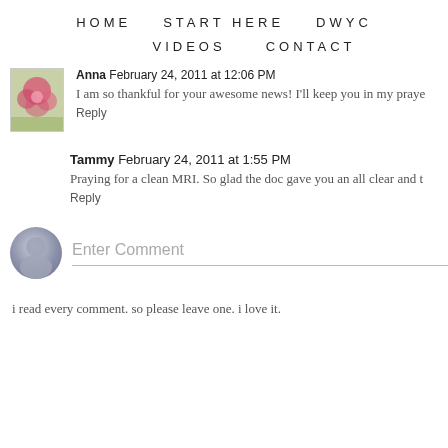HOME   START HERE   DWYC   VIDEOS   CONTACT
Anna February 24, 2011 at 12:06 PM
I am so thankful for your awesome news! I'll keep you in my praye…
Reply
Tammy February 24, 2011 at 1:55 PM
Praying for a clean MRI. So glad the doc gave you an all clear and t…
Reply
Enter Comment
i read every comment. so please leave one. i love it.